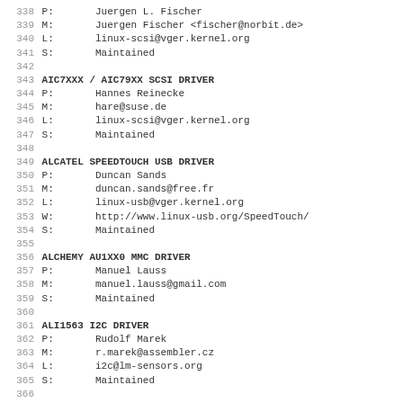338 P:       Juergen L. Fischer
339 M:       Juergen Fischer <fischer@norbit.de>
340 L:       linux-scsi@vger.kernel.org
341 S:       Maintained
342
343 AIC7XXX / AIC79XX SCSI DRIVER
344 P:       Hannes Reinecke
345 M:       hare@suse.de
346 L:       linux-scsi@vger.kernel.org
347 S:       Maintained
348
349 ALCATEL SPEEDTOUCH USB DRIVER
350 P:       Duncan Sands
351 M:       duncan.sands@free.fr
352 L:       linux-usb@vger.kernel.org
353 W:       http://www.linux-usb.org/SpeedTouch/
354 S:       Maintained
355
356 ALCHEMY AU1XX0 MMC DRIVER
357 P:       Manuel Lauss
358 M:       manuel.lauss@gmail.com
359 S:       Maintained
360
361 ALI1563 I2C DRIVER
362 P:       Rudolf Marek
363 M:       r.marek@assembler.cz
364 L:       i2c@lm-sensors.org
365 S:       Maintained
366
367 ALPHA PORT
368 P:       Richard Henderson
369 M:       rth@twiddle.net
370 S:       Odd Fixes for 2.4; Maintained for 2.6